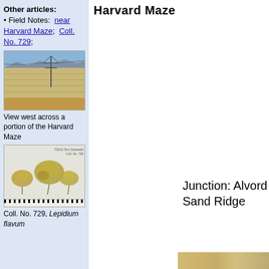Harvard Maze
Other articles:
• Field Notes: near Harvard Maze; Coll. No. 729;
[Figure (photo): View west across a portion of the Harvard Maze — flat desert landscape with power line tower and mountains in the background]
View west across a portion of the Harvard Maze
[Figure (photo): Coll. No. 729 — herbarium specimen of Lepidium flavum showing dried plant specimens on white background with ruler, labeled ©2011 Tom Schweich, Coll. No. 729]
Coll. No. 729, Lepidium flavum
Junction: Alvord Mountain Road Sand Ridge